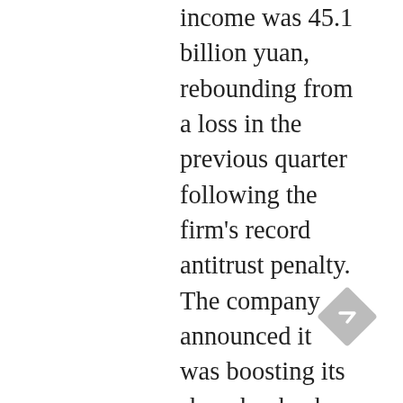income was 45.1 billion yuan, rebounding from a loss in the previous quarter following the firm's record antitrust penalty. The company announced it was boosting its share buyback program by 50% to $15 billion. Alibaba shares were up slightly in pre-market trading. Alibaba, among the first of China's internet giants to feel the heat from Beijing, has been closely watched for clues to the real-world impact of the upheaval that's ensued since regulators went after industries from online commerce to ride-hailing and edtech. Months after swallowing a $2.8 billion fine for violations such as forced exclusivity with merchants, Jack Ma's flagship e-commerce firm is plowing money into areas like its bargains platform and community commerce to offset slowing growth, at a